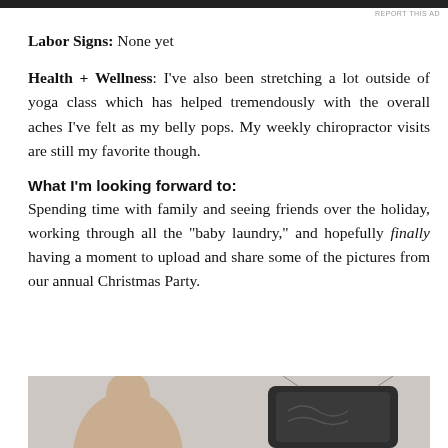Labor Signs: None yet
Health + Wellness: I've also been stretching a lot outside of yoga class which has helped tremendously with the overall aches I've felt as my belly pops. My weekly chiropractor visits are still my favorite though.
What I'm looking forward to:
Spending time with family and seeing friends over the holiday, working through all the "baby laundry," and hopefully finally having a moment to upload and share some of the pictures from our annual Christmas Party.
[Figure (photo): Partial photo showing a person and a chalkboard sign at the bottom of the page]